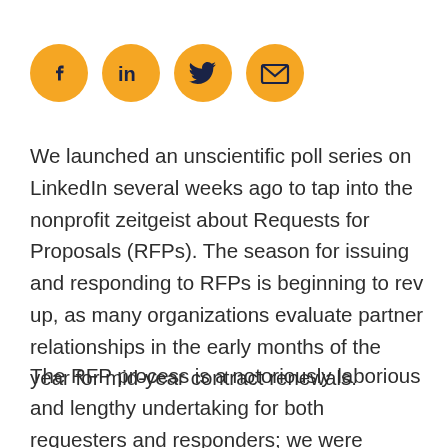[Figure (infographic): Four social media icon circles in gold/amber color: Facebook (f), LinkedIn (in), Twitter (bird), Email (envelope)]
We launched an unscientific poll series on LinkedIn several weeks ago to tap into the nonprofit zeitgeist about Requests for Proposals (RFPs). The season for issuing and responding to RFPs is beginning to rev up, as many organizations evaluate partner relationships in the early months of the year for mid-year contract renewals.
The RFP process is a notoriously laborious and lengthy undertaking for both requesters and responders; we were curious to learn how